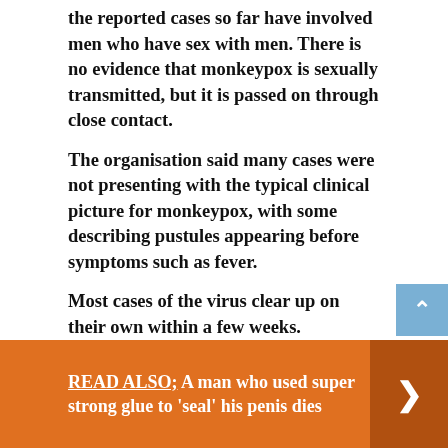the reported cases so far have involved men who have sex with men. There is no evidence that monkeypox is sexually transmitted, but it is passed on through close contact.
The organisation said many cases were not presenting with the typical clinical picture for monkeypox, with some describing pustules appearing before symptoms such as fever.
Most cases of the virus clear up on their own within a few weeks. Symptoms include fever, headaches, swellings, back pain, aching muscles, as well as a rash which goes through different stages.
READ ALSO;  A man who used super strong glue to 'seal' his penis dies